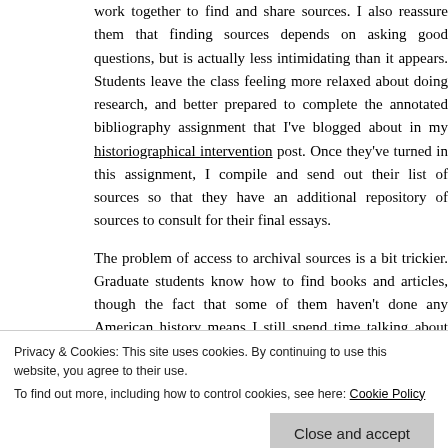work together to find and share sources. I also reassure them that finding sources depends on asking good questions, but is actually less intimidating than it appears. Students leave the class feeling more relaxed about doing research, and better prepared to complete the annotated bibliography assignment that I've blogged about in my historiographical intervention post. Once they've turned in this assignment, I compile and send out their list of sources so that they have an additional repository of sources to consult for their final essays.
The problem of access to archival sources is a bit trickier. Graduate students know how to find books and articles, though the fact that some of them haven't done any American history means I still spend time talking about the most relevant journals for our class. Most of our digital time...
Privacy & Cookies: This site uses cookies. By continuing to use this website, you agree to their use.
To find out more, including how to control cookies, see here: Cookie Policy
Close and accept
Follow